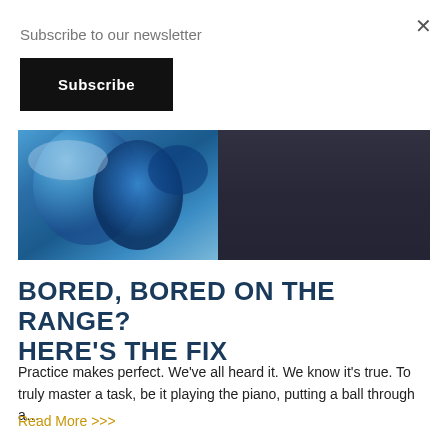Subscribe to our newsletter
Subscribe
[Figure (photo): A photo showing colorful blue decorative pottery or vases on the left side and a person wearing a dark shirt on the right side.]
BORED, BORED ON THE RANGE? HERE'S THE FIX
Practice makes perfect. We've all heard it. We know it's true. To truly master a task, be it playing the piano, putting a ball through a...
Read More >>>